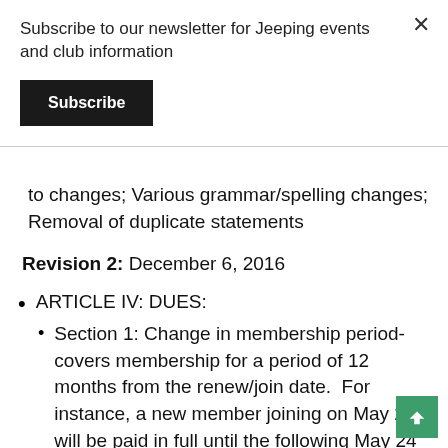Subscribe to our newsletter for Jeeping events and club information
Subscribe
to changes; Various grammar/spelling changes; Removal of duplicate statements
Revision 2: December 6, 2016
ARTICLE IV: DUES:
Section 1: Change in membership period- covers membership for a period of 12 months from the renew/join date.  For instance, a new member joining on May 24 will be paid in full until the following May 24